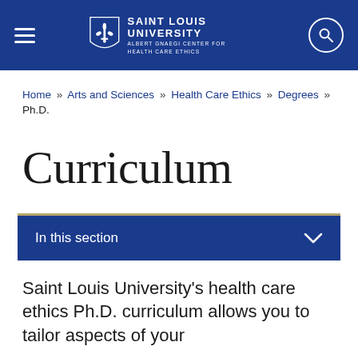SAINT LOUIS UNIVERSITY — ALBERT GNAEGI CENTER FOR HEALTH CARE ETHICS
Home » Arts and Sciences » Health Care Ethics » Degrees » Ph.D.
Curriculum
In this section
Saint Louis University's health care ethics Ph.D. curriculum allows you to tailor aspects of your